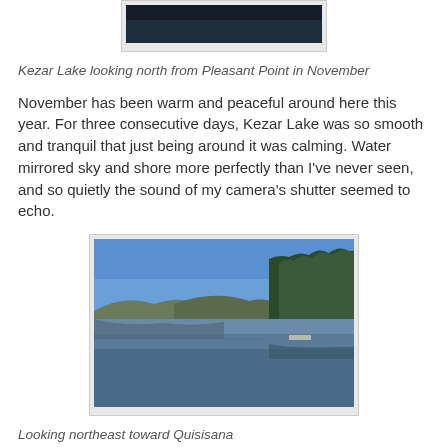[Figure (photo): Partial view of Kezar Lake looking north from Pleasant Point in November — dark sky/water scene, top portion of photo visible]
Kezar Lake looking north from Pleasant Point in November
November has been warm and peaceful around here this year. For three consecutive days, Kezar Lake was so smooth and tranquil that just being around it was calming. Water mirrored sky and shore more perfectly than I've never seen, and so quietly the sound of my camera's shutter seemed to echo.
[Figure (photo): Kezar Lake looking northeast toward Quisisana — calm blue water reflecting treeline and distant hills under clear blue sky, with evergreen trees on the right shore]
Looking northeast toward Quisisana